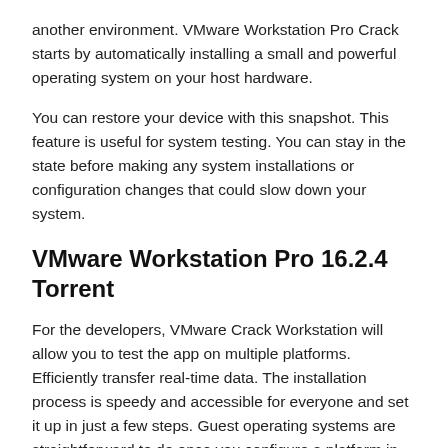another environment. VMware Workstation Pro Crack starts by automatically installing a small and powerful operating system on your host hardware.
You can restore your device with this snapshot. This feature is useful for system testing. You can stay in the state before making any system installations or configuration changes that could slow down your system.
VMware Workstation Pro 16.2.4 Torrent
For the developers, VMware Crack Workstation will allow you to test the app on multiple platforms. Efficiently transfer real-time data. The installation process is speedy and accessible for everyone and set it up in just a few steps. Guest operating systems are straightforward to do once you configure a platform in the software.